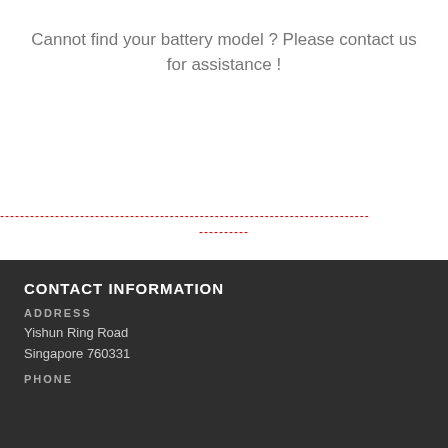Cannot find your battery model ? Please contact us for assistance !
--------------------------------------------------------------------------
----------
CONTACT INFORMATION
ADDRESS
Yishun Ring Road
Singapore 760331
PHONE